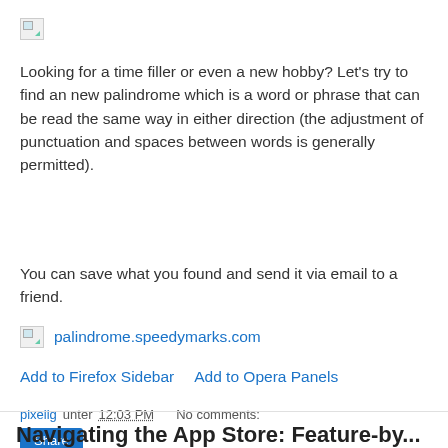[Figure (other): Broken image placeholder icon in top left]
Looking for a time filler or even a new hobby? Let's try to find an new palindrome which is a word or phrase that can be read the same way in either direction (the adjustment of punctuation and spaces between words is generally permitted).
You can save what you found and send it via email to a friend.
palindrome.speedymarks.com
Add to Firefox Sidebar    Add to Opera Panels
pixelig unter 12:03 PM    No comments:
Share
Navigating the App Store: Feature-by...